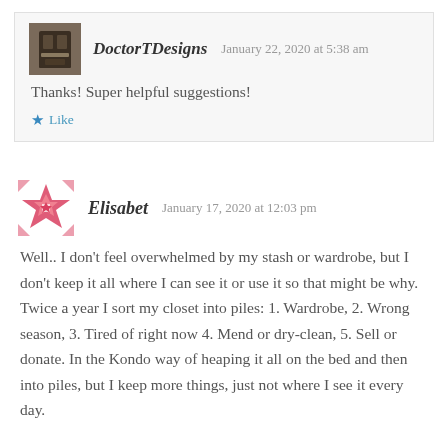DoctorTDesigns    January 22, 2020 at 5:38 am
Thanks! Super helpful suggestions!
Like
Elisabet    January 17, 2020 at 12:03 pm
Well.. I don't feel overwhelmed by my stash or wardrobe, but I don't keep it all where I can see it or use it so that might be why. Twice a year I sort my closet into piles: 1. Wardrobe, 2. Wrong season, 3. Tired of right now 4. Mend or dry-clean, 5. Sell or donate. In the Kondo way of heaping it all on the bed and then into piles, but I keep more things, just not where I see it every day.